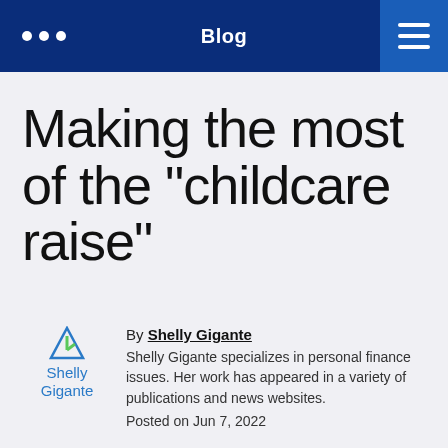Blog
Making the most of the "childcare raise"
By Shelly Gigante
Shelly Gigante specializes in personal finance issues. Her work has appeared in a variety of publications and news websites.
Posted on Jun 7, 2022